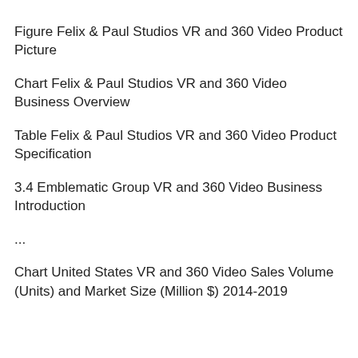Figure Felix & Paul Studios VR and 360 Video Product Picture
Chart Felix & Paul Studios VR and 360 Video Business Overview
Table Felix & Paul Studios VR and 360 Video Product Specification
3.4 Emblematic Group VR and 360 Video Business Introduction
...
Chart United States VR and 360 Video Sales Volume (Units) and Market Size (Million $) 2014-2019